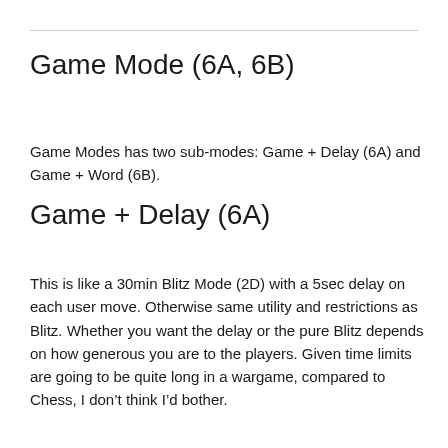Game Mode (6A, 6B)
Game Modes has two sub-modes: Game + Delay (6A) and Game + Word (6B).
Game + Delay (6A)
This is like a 30min Blitz Mode (2D) with a 5sec delay on each user move. Otherwise same utility and restrictions as Blitz. Whether you want the delay or the pure Blitz depends on how generous you are to the players. Given time limits are going to be quite long in a wargame, compared to Chess, I don’t think I’d bother.